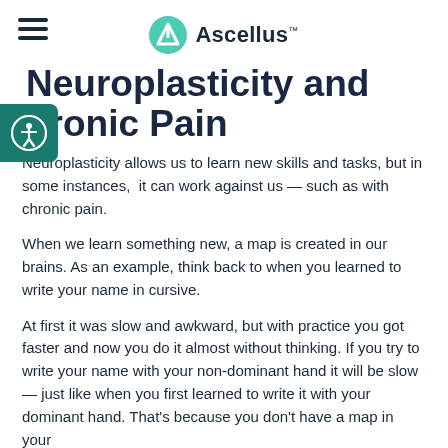Ascellus
Neuroplasticity and Chronic Pain
Neuroplasticity allows us to learn new skills and tasks, but in some instances,  it can work against us — such as with chronic pain.
When we learn something new, a map is created in our brains. As an example, think back to when you learned to write your name in cursive.
At first it was slow and awkward, but with practice you got faster and now you do it almost without thinking. If you try to write your name with your non-dominant hand it will be slow — just like when you first learned to write it with your dominant hand. That's because you don't have a map in your